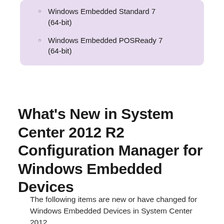Windows Embedded Standard 7 (64-bit)
Windows Embedded POSReady 7 (64-bit)
What's New in System Center 2012 R2 Configuration Manager for Windows Embedded Devices
The following items are new or have changed for Windows Embedded Devices in System Center 2012